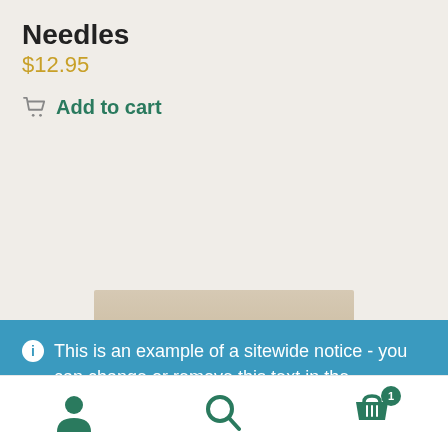Needles
$12.95
Add to cart
[Figure (photo): Product image - partial view of a product packaging, beige/tan colored]
ℹ This is an example of a sitewide notice - you can change or remove this text in the Customizer under "Store Notice"
Dismiss